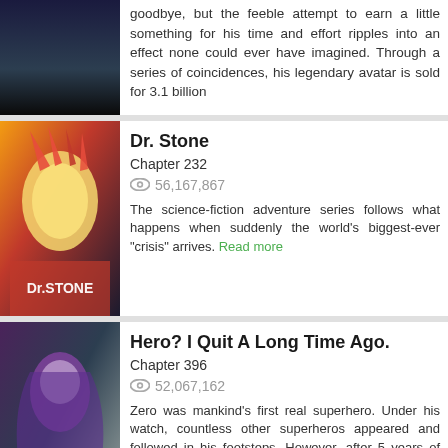goodbye, but the feeble attempt to earn a little something for his time and effort ripples into an effect none could ever have imagined. Through a series of coincidences, his legendary avatar is sold for 3.1 billion
Dr. Stone
Chapter 232
56,167,867
The science-fiction adventure series follows what happens when suddenly the world's biggest-ever "crisis" arrives. Read more
Hero? I Quit A Long Time Ago.
Chapter 396
52,067,162
Zero was mankind's first real superhero. Under his watch, countless other superheros appeared and followed in his footsteps. However, after 5 years of war, Zero disappeared without a trace. Read more